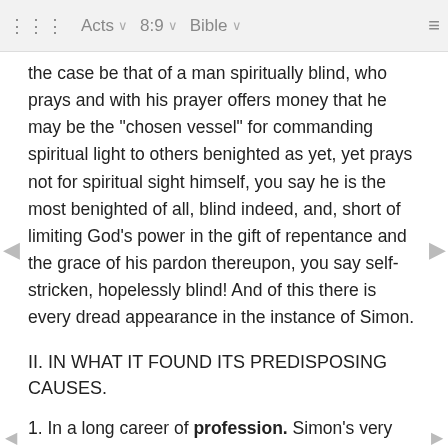⋮⋮⋮  Acts  ∨  8:9  ∨  Bible  ∨  ≡
the case be that of a man spiritually blind, who prays and with his prayer offers money that he may be the "chosen vessel" for commanding spiritual light to others benighted as yet, yet prays not for spiritual sight himself, you say he is the most benighted of all, blind indeed, and, short of limiting God's power in the gift of repentance and the grace of his pardon thereupon, you say self-stricken, hopelessly blind! And of this there is every dread appearance in the instance of Simon.
II. IN WHAT IT FOUND ITS PREDISPOSING CAUSES.
1. In a long career of profession. Simon's very profession was to make profession. And it was of the very essence of dangerous profession, since it was profession about self. Self was the object as